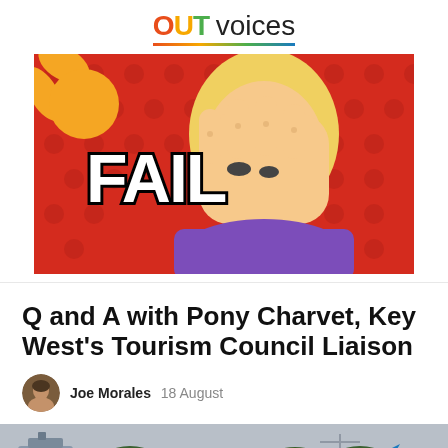OUTvoices
[Figure (illustration): Cartoon facepalm illustration: a blonde cartoon character covering their face with their hand, with the word FAIL in large bold white letters outlined in black, on a red polka-dot pop-art background.]
Q and A with Pony Charvet, Key West's Tourism Council Liaison
Joe Morales  18 August
[Figure (photo): Aerial/distant photo of Key West skyline with trees, buildings, cranes and colorful kites or flags visible against a gray sky.]